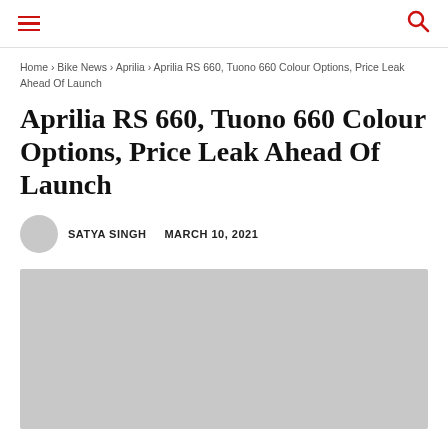hamburger menu | search icon
Home › Bike News › Aprilia › Aprilia RS 660, Tuono 660 Colour Options, Price Leak Ahead Of Launch
Aprilia RS 660, Tuono 660 Colour Options, Price Leak Ahead Of Launch
SATYA SINGH   MARCH 10, 2021
[Figure (photo): Gray placeholder image for article photo]